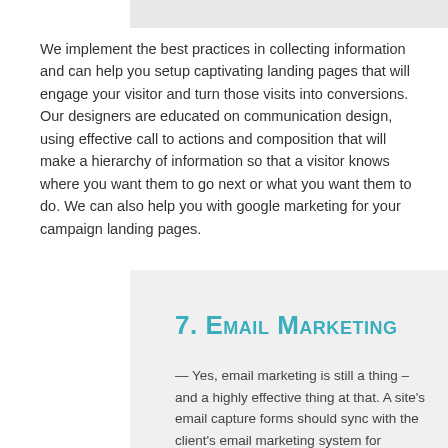We implement the best practices in collecting information and can help you setup captivating landing pages that will engage your visitor and turn those visits into conversions. Our designers are educated on communication design, using effective call to actions and composition that will make a hierarchy of information so that a visitor knows where you want them to go next or what you want them to do. We can also help you with google marketing for your campaign landing pages.
7. Email Marketing
— Yes, email marketing is still a thing – and a highly effective thing at that. A site's email capture forms should sync with the client's email marketing system for seamless access and connection.